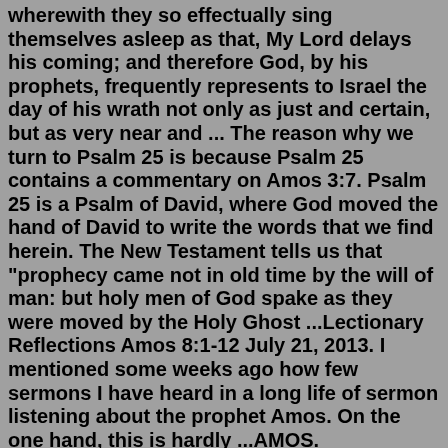wherewith they so effectually sing themselves asleep as that, My Lord delays his coming; and therefore God, by his prophets, frequently represents to Israel the day of his wrath not only as just and certain, but as very near and ... The reason why we turn to Psalm 25 is because Psalm 25 contains a commentary on Amos 3:7. Psalm 25 is a Psalm of David, where God moved the hand of David to write the words that we find herein. The New Testament tells us that "prophecy came not in old time by the will of man: but holy men of God spake as they were moved by the Holy Ghost ...Lectionary Reflections Amos 8:1-12 July 21, 2013. I mentioned some weeks ago how few sermons I have heard in a long life of sermon listening about the prophet Amos. On the one hand, this is hardly ...AMOS. Introduction. The times of Amos. The date of the earthquake (1:1) cannot now be settled and therefore we do not know exactly when Amos prophesied. Uzziah of Judah reigned from 767-740 . BC. and Jeroboam II of Israel from 782. BC-753 and, within these limits, a date around 760 . BC. is